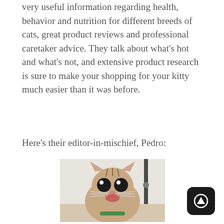very useful information regarding health, behavior and nutrition for different breeds of cats, great product reviews and professional caretaker advice. They talk about what's hot and what's not, and extensive product research is sure to make your shopping for your kitty much easier than it was before.
Here's their editor-in-mischief, Pedro:
[Figure (photo): A tabby cat with wide eyes and open mouth, looking surprised or excited, photographed indoors]